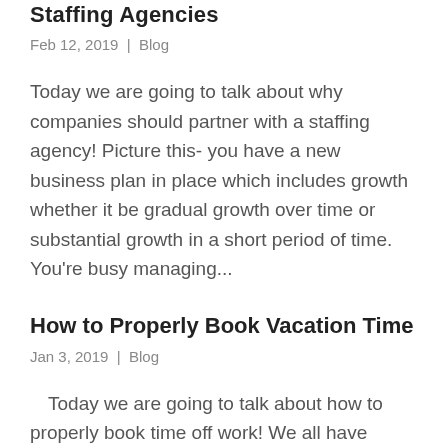Staffing Agencies
Feb 12, 2019 | Blog
Today we are going to talk about why companies should partner with a staffing agency! Picture this- you have a new business plan in place which includes growth whether it be gradual growth over time or substantial growth in a short period of time. You're busy managing...
How to Properly Book Vacation Time
Jan 3, 2019 | Blog
Today we are going to talk about how to properly book time off work! We all have those vacation days we can use, but let's be